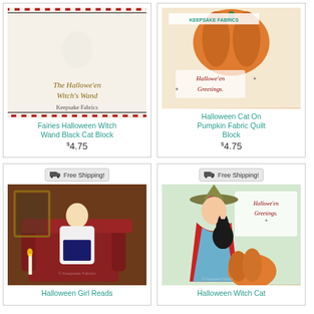[Figure (photo): Product card: Fairies Halloween Witch Wand Black Cat Block - vintage illustration with witch and cat, checkered border. Price $4.75]
[Figure (photo): Product card: Halloween Cat On Pumpkin Fabric Quilt Block - vintage postcard with pumpkin and Halloween greetings. Price $4.75]
[Figure (photo): Product card: Halloween Girl Reads - vintage painting of girl reading by candlelight in red armchair. Free Shipping badge.]
[Figure (photo): Product card: Halloween Witch Cat - vintage illustration of girl in witch hat holding black cat with pumpkin. Free Shipping badge.]